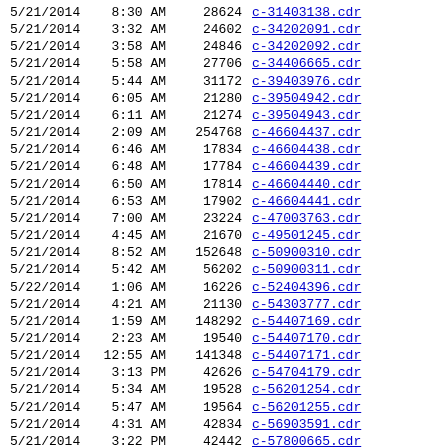| Date | Time | Size | Filename |
| --- | --- | --- | --- |
| 5/21/2014 | 8:30 AM | 28624 | c-31403138.cdr |
| 5/21/2014 | 3:32 AM | 24602 | c-34202091.cdr |
| 5/21/2014 | 3:58 AM | 24846 | c-34202092.cdr |
| 5/21/2014 | 5:58 AM | 27706 | c-34406665.cdr |
| 5/21/2014 | 5:44 AM | 31172 | c-39403976.cdr |
| 5/21/2014 | 6:05 AM | 21280 | c-39504942.cdr |
| 5/21/2014 | 6:11 AM | 21274 | c-39504943.cdr |
| 5/21/2014 | 2:09 AM | 254768 | c-46604437.cdr |
| 5/21/2014 | 6:46 AM | 17834 | c-46604438.cdr |
| 5/21/2014 | 6:48 AM | 17784 | c-46604439.cdr |
| 5/21/2014 | 6:50 AM | 17814 | c-46604440.cdr |
| 5/21/2014 | 6:53 AM | 17902 | c-46604441.cdr |
| 5/21/2014 | 7:00 AM | 23224 | c-47003763.cdr |
| 5/21/2014 | 4:45 AM | 21670 | c-49501245.cdr |
| 5/21/2014 | 8:52 AM | 152648 | c-50900310.cdr |
| 5/21/2014 | 5:42 AM | 56202 | c-50900311.cdr |
| 5/22/2014 | 1:06 AM | 16226 | c-52404396.cdr |
| 5/21/2014 | 4:21 AM | 21130 | c-54303777.cdr |
| 5/21/2014 | 1:59 AM | 148292 | c-54407169.cdr |
| 5/21/2014 | 2:23 AM | 19540 | c-54407170.cdr |
| 5/21/2014 | 12:55 AM | 141348 | c-54407171.cdr |
| 5/21/2014 | 3:13 PM | 42626 | c-54704179.cdr |
| 5/21/2014 | 5:34 AM | 19528 | c-56201254.cdr |
| 5/21/2014 | 5:47 AM | 19564 | c-56201255.cdr |
| 5/21/2014 | 4:31 AM | 42834 | c-56903591.cdr |
| 5/21/2014 | 3:22 PM | 42442 | c-57800665.cdr |
| 5/21/2014 | 1:48 AM | 24422 | c-60502096.cdr |
| 5/21/2014 | 1:55 AM | 24640 | c-60502097.cdr |
| 5/21/2014 | 6:55 AM | 13298 | c-62302101.cdr |
| 5/21/2014 | 3:26 PM | 13514 | c-64005262.cdr |